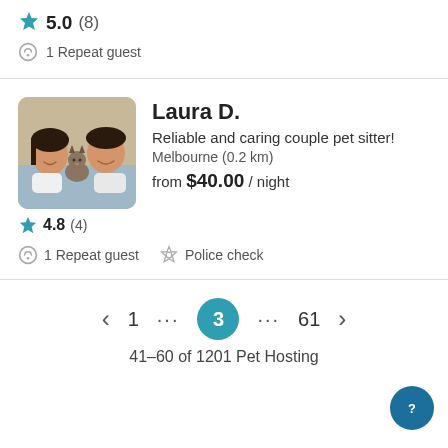5.0 (8)
1 Repeat guest
Laura D.
Reliable and caring couple pet sitter!
Melbourne (0.2 km)
from $40.00 / night
[Figure (photo): Profile photo of a couple with a Siamese cat]
4.8 (4)
1 Repeat guest   Police check
< 1 ... 3 ... 61 >
41–60 of 1201 Pet Hosting